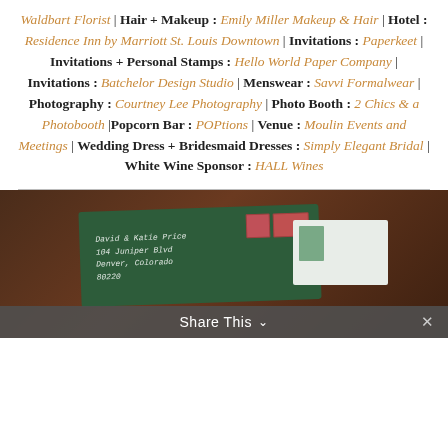Waldbart Florist | Hair + Makeup : Emily Miller Makeup & Hair | Hotel : Residence Inn by Marriott St. Louis Downtown | Invitations : Paperkeet | Invitations + Personal Stamps : Hello World Paper Company | Invitations : Batchelor Design Studio | Menswear : Savvi Formalwear | Photography : Courtney Lee Photography | Photo Booth : 2 Chics & a Photobooth |Popcorn Bar : POPtions | Venue : Moulin Events and Meetings | Wedding Dress + Bridesmaid Dresses : Simply Elegant Bridal | White Wine Sponsor : HALL Wines
[Figure (photo): Photo of wedding envelopes addressed in calligraphy to David & Katie Price, with stamps, placed on a wooden surface. A green envelope and a white card with a leaf illustration are visible.]
Share This